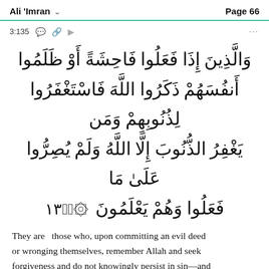Ali 'Imran   Page 66
3:135
وَالَّذِينَ إِذَا فَعَلُوا فَاحِشَةً أَوْ ظَلَمُوا أَنفُسَهُمْ ذَكَرُوا اللَّهَ فَاسْتَغْفَرُوا لِذُنُوبِهِمْ وَمَن يَغْفِرُ الذُّنُوبَ إِلَّا اللَّهُ وَلَمْ يُصِرُّوا عَلَىٰ مَا فَعَلُوا وَهُمْ يَعْلَمُونَ ﴿١٣٥﴾
They are  those who, upon committing an evil deed or wronging themselves, remember Allah and seek forgiveness and do not knowingly persist in sin—and